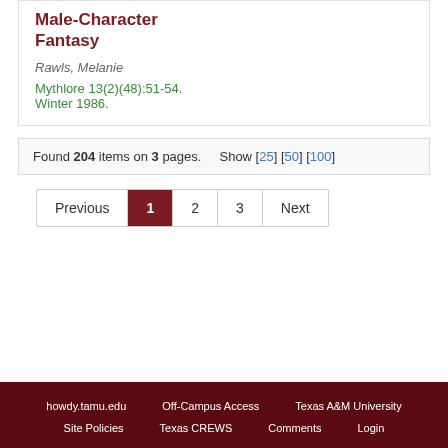Male-Character Fantasy
Rawls, Melanie
Mythlore 13(2)(48):51-54. Winter 1986.
Found 204 items on 3 pages. Show [25] [50] [100]
Previous
1
2
3
Next
howdy.tamu.edu   Off-Campus Access   Texas A&M University   Site Policies   Texas CREWS   Comments   Login